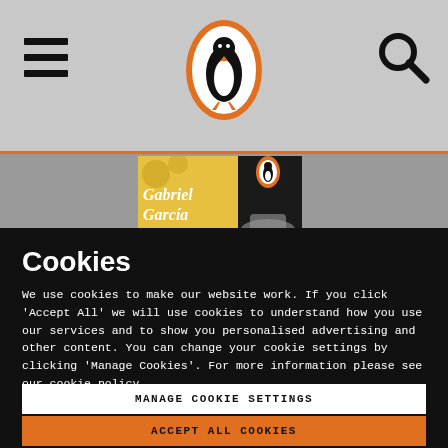[Figure (logo): Penguin Books logo — penguin in orange oval — centered in grey header bar]
[Figure (photo): Partial book cover showing 'Gabriel García' text on yellow and black background]
Cookies
We use cookies to make our website work. If you click 'Accept All' we will use cookies to understand how you use our services and to show you personalised advertising and other content. You can change your cookie settings by clicking 'Manage Cookies'. For more information please see our cookie policy
MANAGE COOKIE SETTINGS
ACCEPT ALL COOKIES